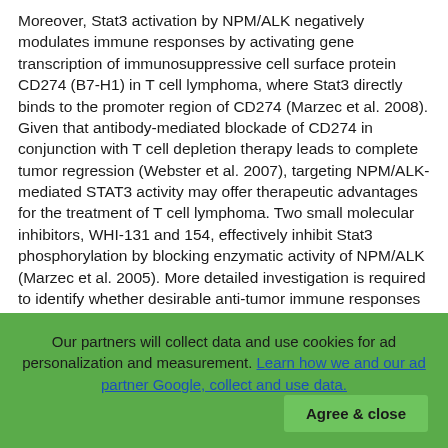Moreover, Stat3 activation by NPM/ALK negatively modulates immune responses by activating gene transcription of immunosuppressive cell surface protein CD274 (B7-H1) in T cell lymphoma, where Stat3 directly binds to the promoter region of CD274 (Marzec et al. 2008). Given that antibody-mediated blockade of CD274 in conjunction with T cell depletion therapy leads to complete tumor regression (Webster et al. 2007), targeting NPM/ALK-mediated STAT3 activity may offer therapeutic advantages for the treatment of T cell lymphoma. Two small molecular inhibitors, WHI-131 and 154, effectively inhibit Stat3 phosphorylation by blocking enzymatic activity of NPM/ALK (Marzec et al. 2005). More detailed investigation is required to identify whether desirable anti-tumor immune responses are elicited by these compounds. Targeting BCR-ABL also reverses Stat3-mediated immune suppression in tumors. The most widely studied BCR-ABL kinase inhibitors, imatinib mesylate is applied as standard therapy for the treatment of Philadelphia chromosomepositive CML and gastrointestinal stromal tumor (GIST), where it has demonstrated significant
Our partners will collect data and use cookies for ad personalization and measurement. Learn how we and our ad partner Google, collect and use data.
Agree & close